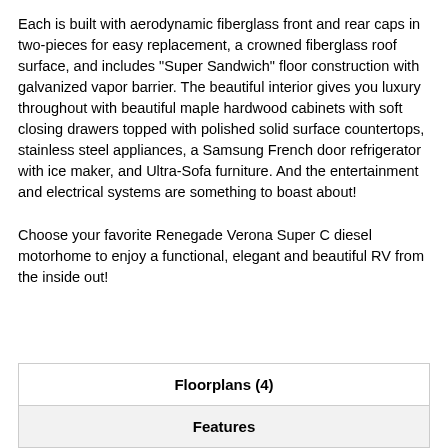Each is built with aerodynamic fiberglass front and rear caps in two-pieces for easy replacement, a crowned fiberglass roof surface, and includes "Super Sandwich" floor construction with galvanized vapor barrier. The beautiful interior gives you luxury throughout with beautiful maple hardwood cabinets with soft closing drawers topped with polished solid surface countertops, stainless steel appliances, a Samsung French door refrigerator with ice maker, and Ultra-Sofa furniture. And the entertainment and electrical systems are something to boast about!
Choose your favorite Renegade Verona Super C diesel motorhome to enjoy a functional, elegant and beautiful RV from the inside out!
| Floorplans (4) |
| --- |
| Features |